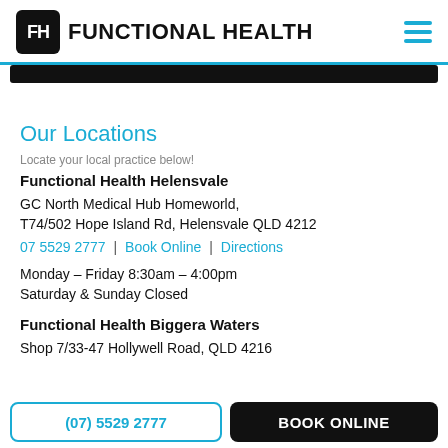FH FUNCTIONAL HEALTH
Our Locations
Locate your local practice below!
Functional Health Helensvale
GC North Medical Hub Homeworld,
T74/502 Hope Island Rd, Helensvale QLD 4212
07 5529 2777 | Book Online | Directions

Monday – Friday 8:30am – 4:00pm
Saturday & Sunday Closed
Functional Health Biggera Waters
Shop 7/33-47 Hollywell Road, QLD 4216
(07) 5529 2777 | BOOK ONLINE